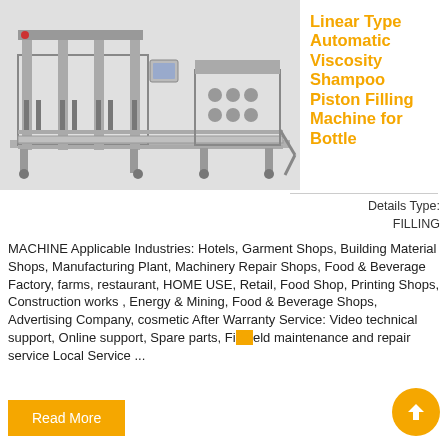[Figure (photo): Industrial linear type automatic viscosity shampoo piston filling machine for bottle — a long conveyor-based filling line with multiple fill heads on the left unit and a capping/secondary unit on the right, both in stainless steel finish.]
Linear Type Automatic Viscosity Shampoo Piston Filling Machine for Bottle
Details Type: FILLING MACHINE Applicable Industries: Hotels, Garment Shops, Building Material Shops, Manufacturing Plant, Machinery Repair Shops, Food & Beverage Factory, farms, restaurant, HOME USE, Retail, Food Shop, Printing Shops, Construction works , Energy & Mining, Food & Beverage Shops, Advertising Company, cosmetic After Warranty Service: Video technical support, Online support, Spare parts, Field maintenance and repair service Local Service ...